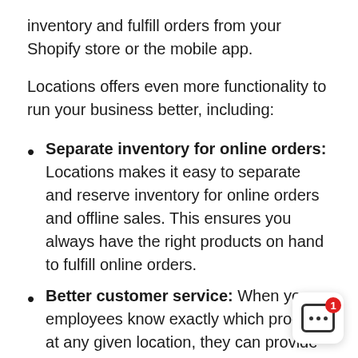inventory and fulfill orders from your Shopify store or the mobile app.
Locations offers even more functionality to run your business better, including:
Separate inventory for online orders: Locations makes it easy to separate and reserve inventory for online orders and offline sales. This ensures you always have the right products on hand to fulfill online orders.
Better customer service: When your employees know exactly which product at any given location, they can provide standout customer experiences